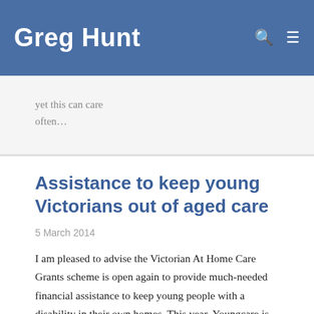Greg Hunt
…yet this can care often…
Assistance to keep young Victorians out of aged care
5 March 2014
I am pleased to advise the Victorian At Home Care Grants scheme is open again to provide much-needed financial assistance to keep young people with a disability in their own homes. This year, Youngcare is offering $200,000 in grants for up to 30 young Victorians to help them avoid premature